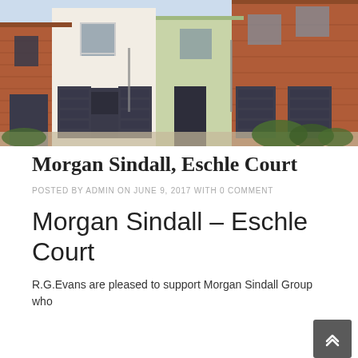[Figure (photo): Photograph of a row of modern townhouses with varied facade colors — cream/white render, pale green render, and red brick — with dark grey garage doors and front doors, landscaping visible in foreground, sunny day.]
Morgan Sindall, Eschle Court
POSTED BY ADMIN ON JUNE 9, 2017 WITH 0 COMMENT
Morgan Sindall – Eschle Court
R.G.Evans are pleased to support Morgan Sindall Group who